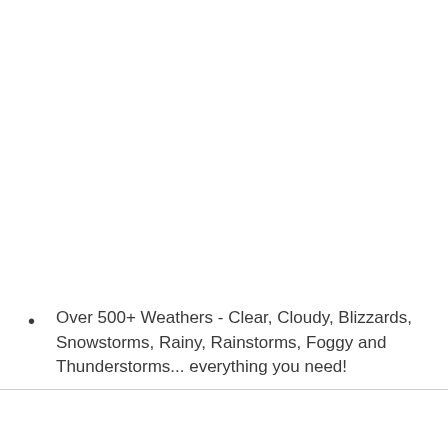Over 500+ Weathers - Clear, Cloudy, Blizzards, Snowstorms, Rainy, Rainstorms, Foggy and Thunderstorms... everything you need!